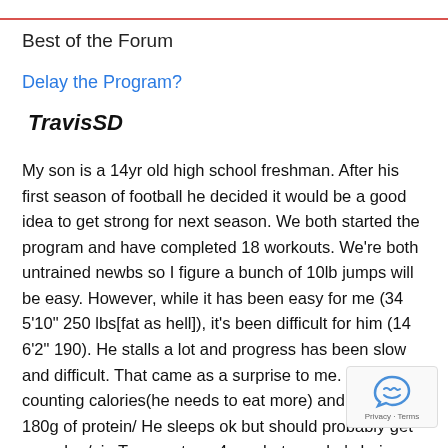Best of the Forum
Delay the Program?
TravisSD
My son is a 14yr old high school freshman. After his first season of football he decided it would be a good idea to get strong for next season. We both started the program and have completed 18 workouts. We're both untrained newbs so I figure a bunch of 10lb jumps will be easy. However, while it has been easy for me (34 5'10" 250 lbs[fat as hell]), it's been difficult for him (14 6'2" 190). He stalls a lot and progress has been slow and difficult. That came as a surprise to me. He is counting calories(he needs to eat more) and averaging 180g of protein/ He sleeps ok but should probably get more hrs/nig Tanner stage 4 or whatever, he's hairy, has a low voice,